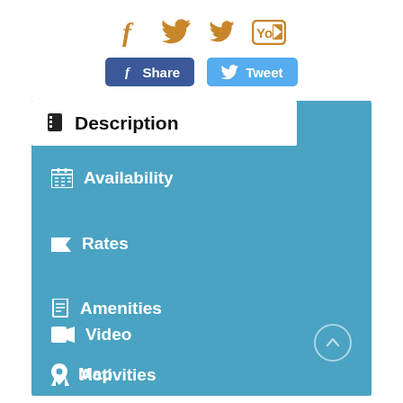[Figure (screenshot): Social media icons: Facebook (f), Twitter bird, YouTube logo in golden/orange color]
[Figure (screenshot): Share buttons: Facebook Share button (blue) and Twitter Tweet button (light blue)]
[Figure (screenshot): Navigation panel with blue background containing menu items: Description (white box), Availability, Rates, Amenities, Activities, Reviews, Video, Map. Scroll-up circle button at bottom right.]